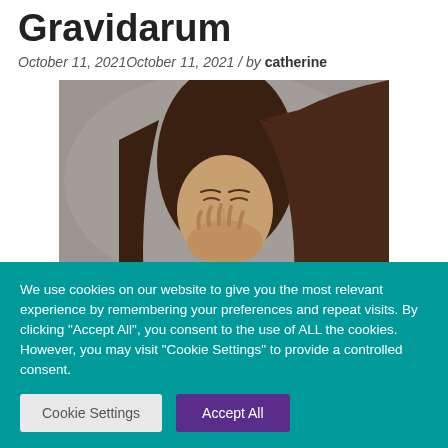Gravidarum
October 11, 2021October 11, 2021 / by catherine
[Figure (photo): A young woman with long brown hair covering her mouth with her hand, appearing nauseous, against a grey background.]
We use cookies on our website to give you the most relevant experience by remembering your preferences and repeat visits. By clicking “Accept All”, you consent to the use of ALL the cookies. However, you may visit “Cookie Settings” to provide a controlled consent.